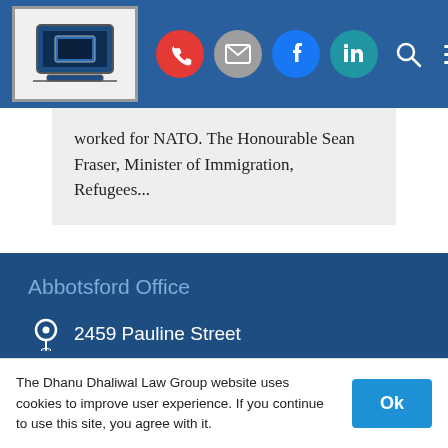[Figure (screenshot): Law firm website navigation bar with logo, phone icon (red), email icon (gray), Facebook icon (blue), LinkedIn icon (teal), search icon, and hamburger menu icon on a blue background.]
worked for NATO. The Honourable Sean Fraser, Minister of Immigration, Refugees...
Abbotsford Office
2459 Pauline Street
604.746.3330
604.746.3331
The Dhanu Dhaliwal Law Group website uses cookies to improve user experience. If you continue to use this site, you agree with it.